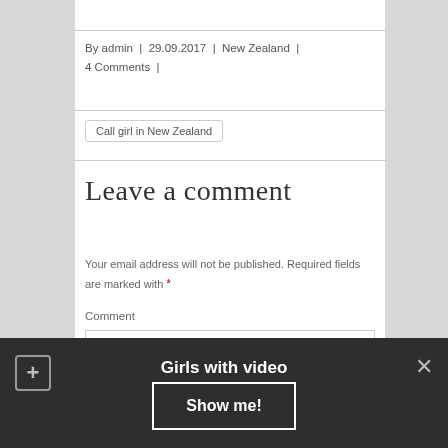By admin | 29.09.2017 | New Zealand | 4 Comments |
Call girl in New Zealand
Leave a comment
Your email address will not be published. Required fields are marked with *
Comment
Girls with video
Show me!